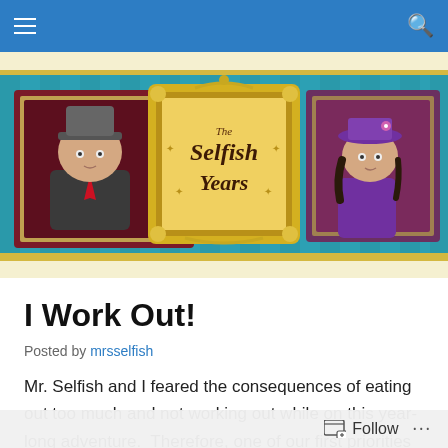Navigation bar with hamburger menu and search icon
[Figure (illustration): The Selfish Years blog banner illustration showing two cartoon character portraits on a teal striped wall background, with a golden ornate frame in the center displaying the text 'The Selfish Years']
I Work Out!
Posted by mrsselfish
Mr. Selfish and I feared the consequences of eating out too much and not working out while on this year-long adventure.  Therefore, one of our first priorities was to find
Follow ...